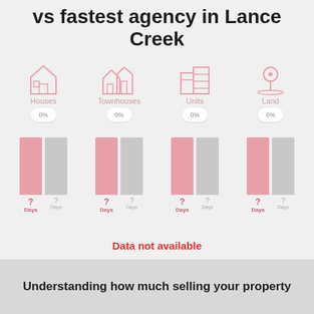vs fastest agency in Lance Creek
[Figure (bar-chart): Grouped bar chart comparing agency vs fastest agency days on market for Houses, Townhouses, Units, Land. All values shown as ? with 0% badges. Data not available overlay shown.]
Understanding how much selling your property